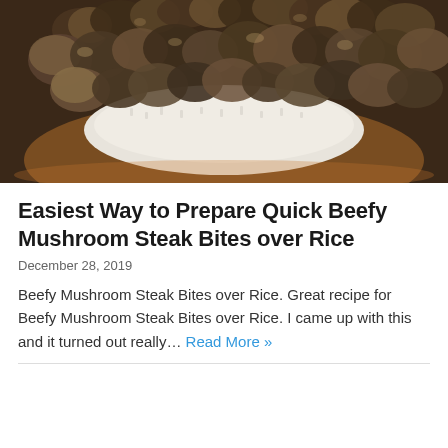[Figure (photo): A plate of beefy mushroom steak bites served over white rice on a brown/orange plate, viewed from above. The beef and mushroom pieces are dark brown and glazed with sauce.]
Easiest Way to Prepare Quick Beefy Mushroom Steak Bites over Rice
December 28, 2019
Beefy Mushroom Steak Bites over Rice. Great recipe for Beefy Mushroom Steak Bites over Rice. I came up with this and it turned out really… Read More »